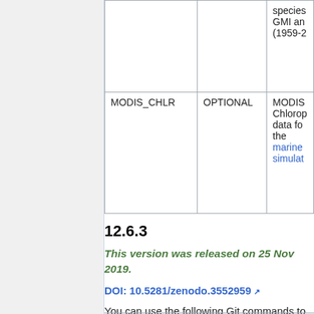|  | OPTIONAL |  |
| --- | --- | --- |
|  | OPTIONAL | species GMI an (1959-2 |
| MODIS_CHLR | OPTIONAL | MODIS Chlorop data fo the marine simulat |
12.6.3
This version was released on 25 Nov 2019.
DOI: 10.5281/zenodo.3552959
You can use the following Git commands to download the GEOS-Chem 12.6.3 source code and 12.6.0 GEOS-Chem Unit Tester package.